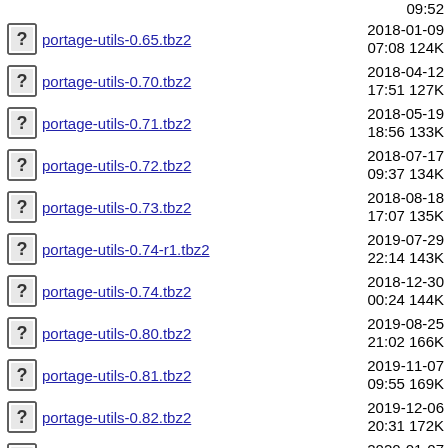portage-utils-0.65.tbz2  2018-01-09 07:08  124K
portage-utils-0.70.tbz2  2018-04-12 17:51  127K
portage-utils-0.71.tbz2  2018-05-19 18:56  133K
portage-utils-0.72.tbz2  2018-07-17 09:37  134K
portage-utils-0.73.tbz2  2018-08-18 17:07  135K
portage-utils-0.74-r1.tbz2  2019-07-29 22:14  143K
portage-utils-0.74.tbz2  2018-12-30 00:24  144K
portage-utils-0.80.tbz2  2019-08-25 21:02  166K
portage-utils-0.81.tbz2  2019-11-07 09:55  169K
portage-utils-0.82.tbz2  2019-12-06 20:31  172K
portage-utils-0.83.tbz2  2020-01-07 13:16  176K